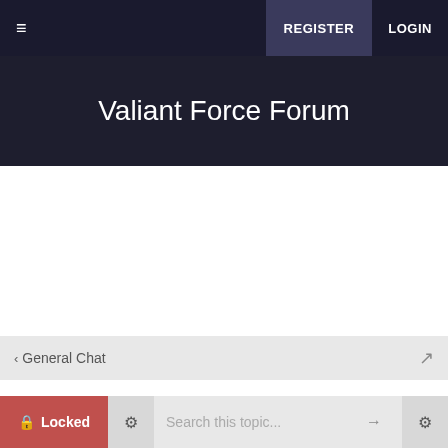≡  REGISTER  LOGIN
Valiant Force Forum
< General Chat
[Important] Be Valiant. Play Fair.
🔒 Locked  ⚙  Search this topic...  →  ⚙